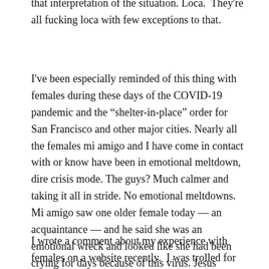that interpretation of the situation. Loca. They're all fucking loca with few exceptions to that.
I've been especially reminded of this thing with females during these days of the COVID-19 pandemic and the “shelter-in-place” order for San Francisco and other major cities. Nearly all the females mi amigo and I have come in contact with or know have been in emotional meltdown, dire crisis mode. The guys? Much calmer and taking it all in stride. No emotional meltdowns. Mi amigo saw one older female today — an acquaintance — and he said she was an emotional wreck and looked like she had been crying for days because of this virus. Jesus fucking christ. What is it with females? Get a fucking grip! He said he tried to talk with her rationally and reasonable but she was clearly panic-stricken like your typical melt-down female. Always needing or craving some drama in their lives.
I wrote a comment about my experience with females on a website recently.  I was trolled for it.  Someone accused me of